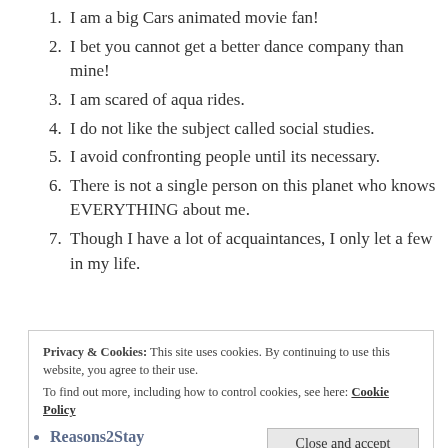1. I am a big Cars animated movie fan!
2. I bet you cannot get a better dance company than mine!
3. I am scared of aqua rides.
4. I do not like the subject called social studies.
5. I avoid confronting people until its necessary.
6. There is not a single person on this planet who knows EVERYTHING about me.
7. Though I have a lot of acquaintances, I only let a few in my life.
Privacy & Cookies: This site uses cookies. By continuing to use this website, you agree to their use. To find out more, including how to control cookies, see here: Cookie Policy
Reasons2Stay